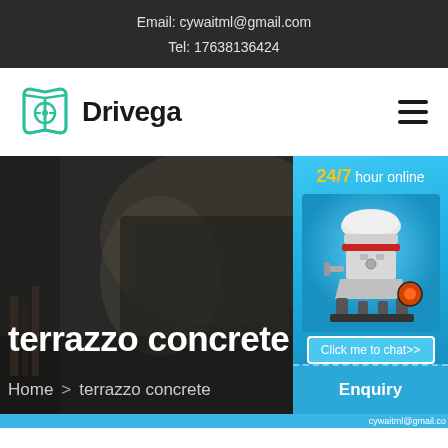Email: cywaitml@gmail.com
Tel: 17638136424
[Figure (logo): Drivega logo: teal open book with steering wheel icon and bold text 'Drivega']
[Figure (photo): Hero background: blurred interior photo (desk/books) with overlay text 'terrazzo concrete' and breadcrumb navigation. Side widget shows '24/7 hour online' with industrial cone crusher machine image and 'Click me to chat>>' button. Bottom right shows 'Enquiry' panel and partial email text.]